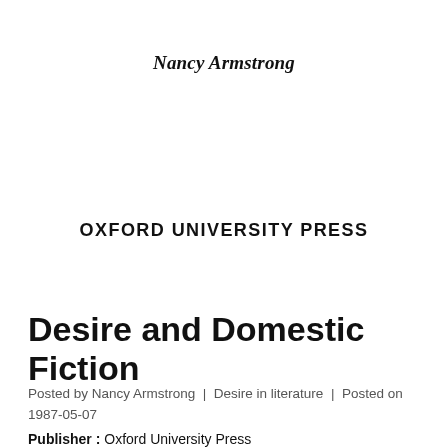Nancy Armstrong
OXFORD UNIVERSITY PRESS
Desire and Domestic Fiction
Posted by Nancy Armstrong | Desire in literature | Posted on 1987-05-07
Publisher : Oxford University Press